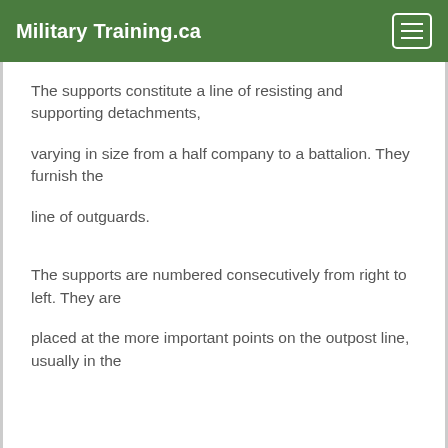Military Training.ca
The supports constitute a line of resisting and supporting detachments,
varying in size from a half company to a battalion. They furnish the
line of outguards.
The supports are numbered consecutively from right to left. They are
placed at the more important points on the outpost line, usually in the